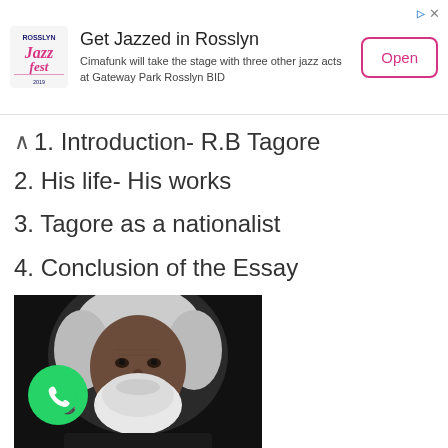[Figure (infographic): Rosslyn JazzFest advertisement banner with logo, text about Cimafunk and jazz acts at Gateway Park Rosslyn BID, and an Open button]
1. Introduction- R.B Tagore
2. His life- His works
3. Tagore as a nationalist
4. Conclusion of the Essay
[Figure (photo): Black and white portrait photograph of Rabindranath Tagore, an elderly man with long white hair and beard, with a WhatsApp icon overlay in the lower left corner]